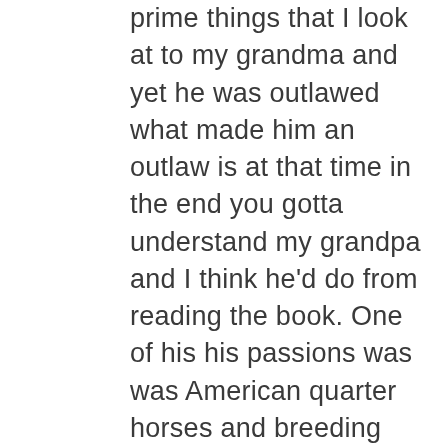prime things that I look at to my grandma and yet he was outlawed what made him an outlaw is at that time in the end you gotta understand my grandpa and I think he'd do from reading the book. One of his his passions was was American quarter horses and breeding world-class American quarter horses and. When his passion was threatened. In his livelihood was threatened by a couple of dogs because the owners couldn't take care of. Their dogs and control in an area. It's not like this was you know downtown Seattle or or anything like this this? Rural Farmland in southern. Utah grow row ranch, and so you got you know normal laws and then you've got ranchers laws in other demo live by as long as they've been there and so to me the time.